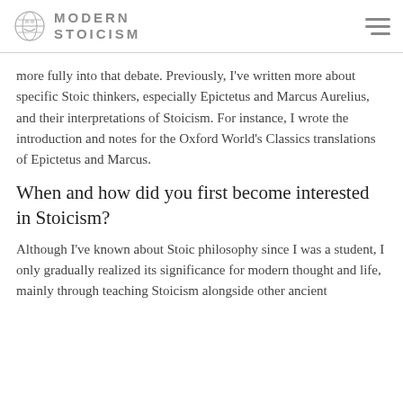MODERN STOICISM
more fully into that debate. Previously, I've written more about specific Stoic thinkers, especially Epictetus and Marcus Aurelius, and their interpretations of Stoicism. For instance, I wrote the introduction and notes for the Oxford World's Classics translations of Epictetus and Marcus.
When and how did you first become interested in Stoicism?
Although I've known about Stoic philosophy since I was a student, I only gradually realized its significance for modern thought and life, mainly through teaching Stoicism alongside other ancient